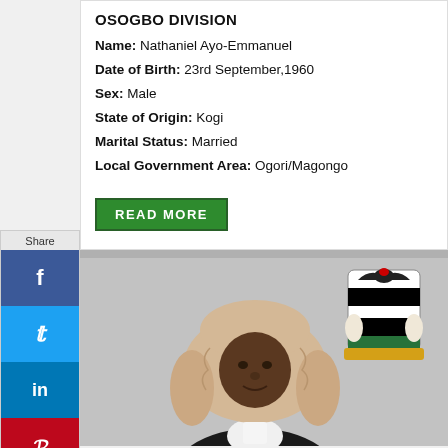OSOGBO DIVISION
Name: Nathaniel Ayo-Emmanuel
Date of Birth: 23rd September,1960
Sex: Male
State of Origin: Kogi
Marital Status: Married
Local Government Area: Ogori/Magongo
READ MORE
[Figure (photo): Portrait photo of a judge wearing a traditional legal wig and robes, with the Nigerian coat of arms (eagle and shield) visible in the upper right corner of the image.]